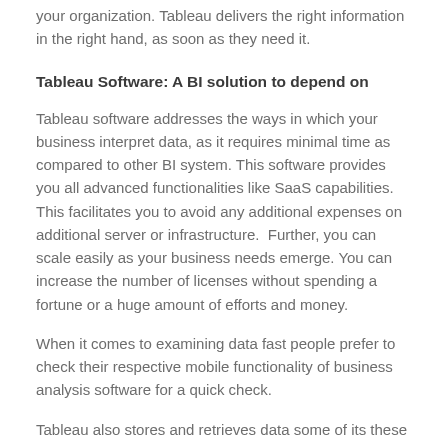your organization. Tableau delivers the right information in the right hand, as soon as they need it.
Tableau Software: A BI solution to depend on
Tableau software addresses the ways in which your business interpret data, as it requires minimal time as compared to other BI system. This software provides you all advanced functionalities like SaaS capabilities. This facilitates you to avoid any additional expenses on additional server or infrastructure.  Further, you can scale easily as your business needs emerge. You can increase the number of licenses without spending a fortune or a huge amount of efforts and money.
When it comes to examining data fast people prefer to check their respective mobile functionality of business analysis software for a quick check.
Tableau also stores and retrieves data some of its these